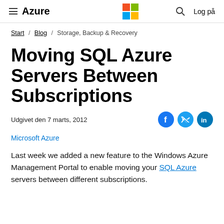≡ Azure  [Microsoft Logo]  🔍  Log på
Start / Blog / Storage, Backup & Recovery
Moving SQL Azure Servers Between Subscriptions
Udgivet den 7 marts, 2012
Microsoft Azure
Last week we added a new feature to the Windows Azure Management Portal to enable moving your SQL Azure servers between different subscriptions.